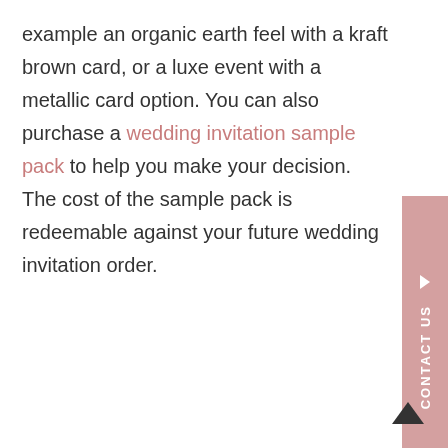example an organic earth feel with a kraft brown card, or a luxe event with a metallic card option. You can also purchase a wedding invitation sample pack to help you make your decision. The cost of the sample pack is redeemable against your future wedding invitation order.